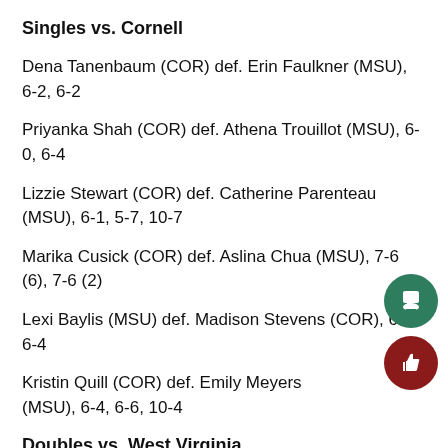Singles vs. Cornell
Dena Tanenbaum (COR) def. Erin Faulkner (MSU), 6-2, 6-2
Priyanka Shah (COR) def. Athena Trouillot (MSU), 6-0, 6-4
Lizzie Stewart (COR) def. Catherine Parenteau (MSU), 6-1, 5-7, 10-7
Marika Cusick (COR) def. Aslina Chua (MSU), 7-6 (6), 7-6 (2)
Lexi Baylis (MSU) def. Madison Stevens (COR), 6-1, 6-4
Kristin Quill (COR) def. Emily Meyers (MSU), 6-4, 6-6, 10-4
Doubles vs. West Virginia